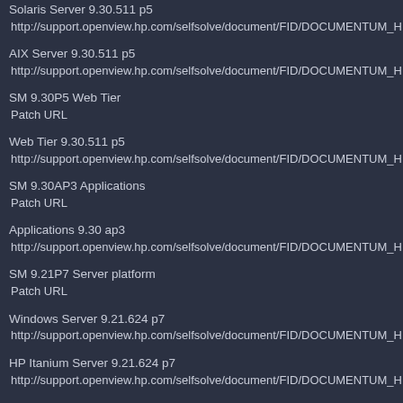Solaris Server 9.30.511 p5
 http://support.openview.hp.com/selfsolve/document/FID/DOCUMENTUM_HPS
AIX Server 9.30.511 p5
 http://support.openview.hp.com/selfsolve/document/FID/DOCUMENTUM_HPS
SM 9.30P5 Web Tier
 Patch URL
Web Tier 9.30.511 p5
 http://support.openview.hp.com/selfsolve/document/FID/DOCUMENTUM_HPS
SM 9.30AP3 Applications
 Patch URL
Applications 9.30 ap3
 http://support.openview.hp.com/selfsolve/document/FID/DOCUMENTUM_HPS
SM 9.21P7 Server platform
 Patch URL
Windows Server 9.21.624 p7
 http://support.openview.hp.com/selfsolve/document/FID/DOCUMENTUM_HPS
HP Itanium Server 9.21.624 p7
 http://support.openview.hp.com/selfsolve/document/FID/DOCUMENTUM_HPS
HP Parisc Server 9.21.624 p7
 http://support.openview.hp.com/selfsolve/document/FID/DOCUMENTUM_HPS
Linux Server 9.21.624 p7